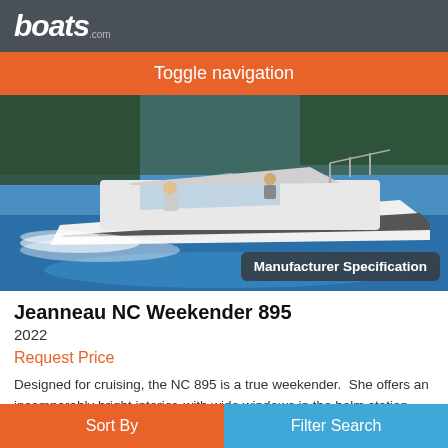boats.com
Toggle navigation
[Figure (photo): White motorboat (Jeanneau NC Weekender 895) speeding on blue water with two people aboard, forested hills in background. Badge overlay reads 'Manufacturer Specification'.]
Jeanneau NC Weekender 895
2022
Request Price
Designed for cruising, the NC 895 is a true weekender.  She offers an incomparably bright interior, with wide windows in the helm station and even more comfort for those special shared moments on board. The
Sort By  |  Filter Search